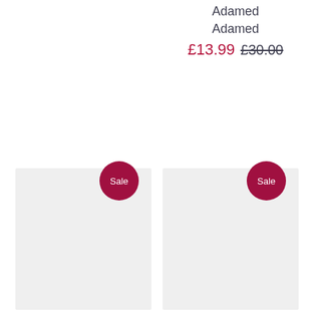Adamed
Adamed
£13.99 £30.00
[Figure (other): Product card for Tabex tablets N100 with Sale badge on grey placeholder image]
Tabex tablets N100, stop smoking, nicorette, UK, USA and worldwide, quit
[Figure (other): Product card for Nizoral cream 2% 30g with Sale badge on grey placeholder image]
Nizoral cream 2% 30g | ketoconazole cream
McNeil ProductsLtd.